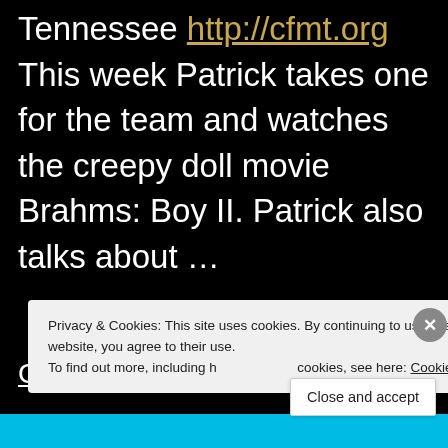Tennessee http://cfmt.org This week Patrick takes one for the team and watches the creepy doll movie Brahms: Boy II. Patrick also talks about …
Continue reading →
Privacy & Cookies: This site uses cookies. By continuing to use this website, you agree to their use.
To find out more, including how to control cookies, see here: Cookie Policy
Close and accept